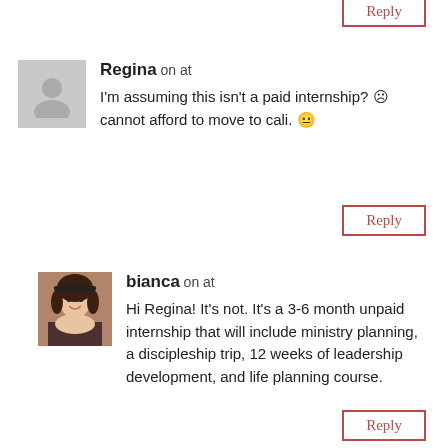Reply (top partial button)
Regina on at
I'm assuming this isn't a paid internship? 😕 cannot afford to move to cali. 😐
Reply
bianca on at
Hi Regina! It's not. It's a 3-6 month unpaid internship that will include ministry planning, a discipleship trip, 12 weeks of leadership development, and life planning course.
Reply